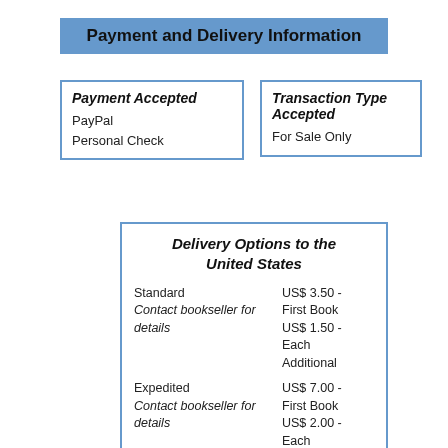Payment and Delivery Information
| Payment Accepted | Transaction Type Accepted |
| --- | --- |
| PayPal
Personal Check | For Sale Only |
| Delivery Options to the United States |
| --- |
| Standard
Contact bookseller for details | US$ 3.50 - First Book
US$ 1.50 - Each Additional |
| Expedited
Contact bookseller for details | US$ 7.00 - First Book
US$ 2.00 - Each Additional |
| International Shipping |  |